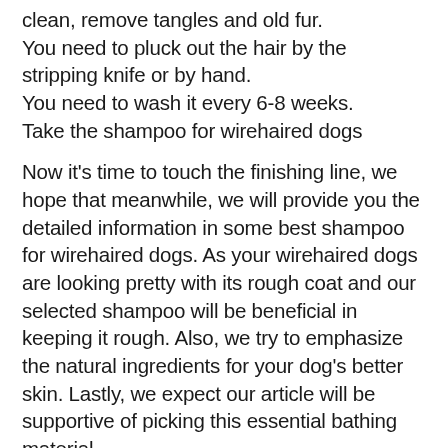clean, remove tangles and old fur. You need to pluck out the hair by the stripping knife or by hand. You need to wash it every 6-8 weeks. Take the shampoo for wirehaired dogs
Now it's time to touch the finishing line, we hope that meanwhile, we will provide you the detailed information in some best shampoo for wirehaired dogs. As your wirehaired dogs are looking pretty with its rough coat and our selected shampoo will be beneficial in keeping it rough. Also, we try to emphasize the natural ingredients for your dog's better skin. Lastly, we expect our article will be supportive of picking this essential bathing material.